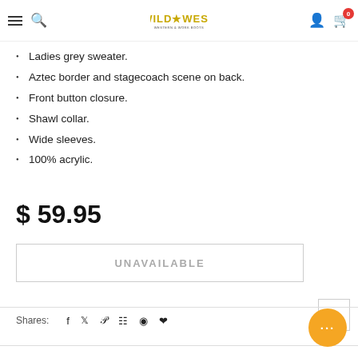Wild West — navigation header with hamburger menu, search icon, logo, user icon, and cart (0)
Ladies grey sweater.
Aztec border and stagecoach scene on back.
Front button closure.
Shawl collar.
Wide sleeves.
100% acrylic.
$ 59.95
UNAVAILABLE
Shares: